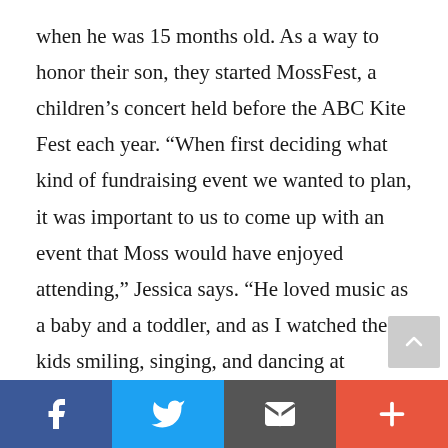when he was 15 months old. As a way to honor their son, they started MossFest, a children's concert held before the ABC Kite Fest each year. “When first deciding what kind of fundraising event we wanted to plan, it was important to us to come up with an event that Moss would have enjoyed attending,” Jessica says. “He loved music as a baby and a toddler, and as I watched the kids smiling, singing, and dancing at MossFest two years ago, it felt
[Figure (other): Social share bar with four buttons: Facebook (blue), Twitter (light blue), Email/envelope (dark grey), and More/plus (orange-red)]